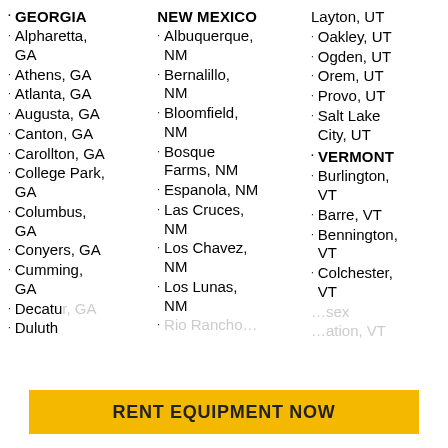GEORGIA
Alpharetta, GA
Athens, GA
Atlanta, GA
Augusta, GA
Canton, GA
Carollton, GA
College Park, GA
Columbus, GA
Conyers, GA
Cumming, GA
Decatur, GA
Duluth
NEW MEXICO
Albuquerque, NM
Bernalillo, NM
Bloomfield, NM
Bosque Farms, NM
Espanola, NM
Las Cruces, NM
Los Chavez, NM
Los Lunas, NM
Rio Rancho (partial)
Layton, UT
Oakley, UT
Ogden, UT
Orem, UT
Provo, UT
Salt Lake City, UT
VERMONT
Burlington, VT
Barre, VT
Bennington, VT
Colchester, VT
Essex (partial)
Enosburg (partial)